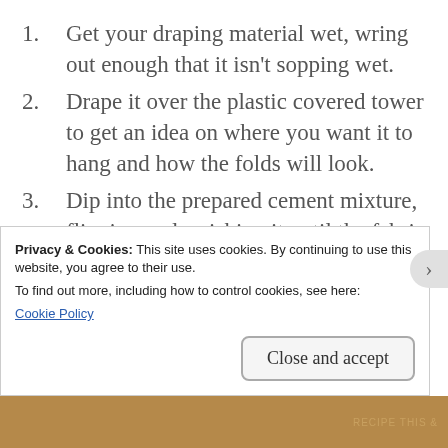Get your draping material wet, wring out enough that it isn’t sopping wet.
Drape it over the plastic covered tower to get an idea on where you want it to hang and how the folds will look.
Dip into the prepared cement mixture, flipping and swishing it until the fabric is fully saturated. Let it soak for 5 or 10 minutes to absorb as much as possible.
Lift it up by two corners, then gently lay it over the top of your tower. Move it around
Privacy & Cookies: This site uses cookies. By continuing to use this website, you agree to their use.
To find out more, including how to control cookies, see here:
Cookie Policy

Close and accept